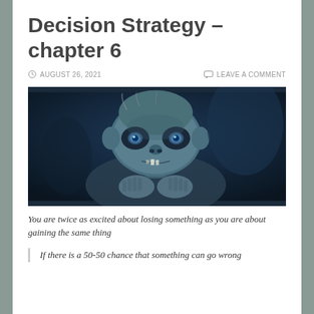Decision Strategy – chapter 6
AUGUST 26, 2021   LEAVE A COMMENT
[Figure (photo): A dark blue-toned cinematic image of Gollum (creature from Lord of the Rings), crouching forward with his hands clasped, looking intensely at the viewer. The background is dark blue with rocky elements.]
You are twice as excited about losing something as you are about gaining the same thing
If there is a 50-50 chance that something can go wrong